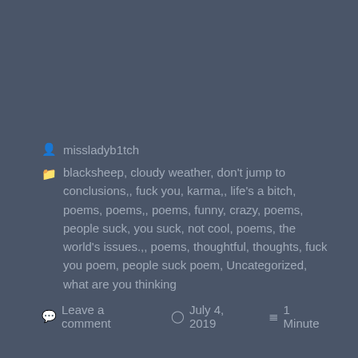missladyb1tch
blacksheep, cloudy weather, don't jump to conclusions,, fuck you, karma,, life's a bitch, poems, poems,, poems, funny, crazy, poems, people suck, you suck, not cool, poems, the world's issues.,, poems, thoughtful, thoughts, fuck you poem, people suck poem, Uncategorized, what are you thinking
Leave a comment   July 4, 2019   1 Minute